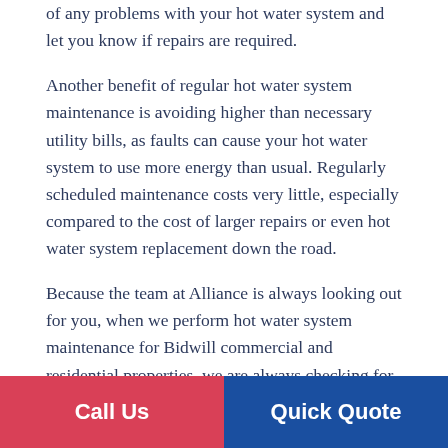of any problems with your hot water system and let you know if repairs are required.
Another benefit of regular hot water system maintenance is avoiding higher than necessary utility bills, as faults can cause your hot water system to use more energy than usual. Regularly scheduled maintenance costs very little, especially compared to the cost of larger repairs or even hot water system replacement down the road.
Because the team at Alliance is always looking out for you, when we perform hot water system maintenance for Bidwill commercial and residential properties, we are always checking for potential future issues. Once we have finished our maintenance, our technicians will happily walk you through what they find and what the best course of action is to save you time and money in the future.
Call Us
Quick Quote